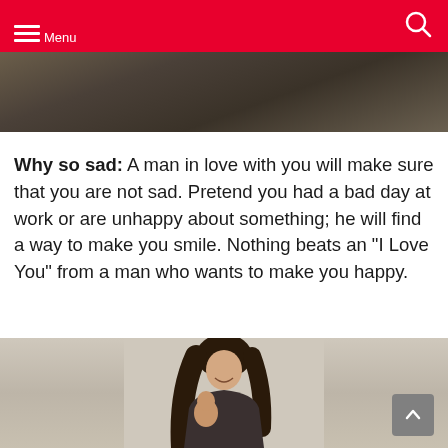Menu
[Figure (photo): Partial photo of a person outdoors on grass, visible from shoulders/head, dark toned image]
Why so sad: A man in love with you will make sure that you are not sad. Pretend you had a bad day at work or are unhappy about something; he will find a way to make you smile. Nothing beats an "I Love You" from a man who wants to make you happy.
[Figure (photo): Photo of a man with long dark hair smiling, appearing to hold someone, light beige/cream wall background]